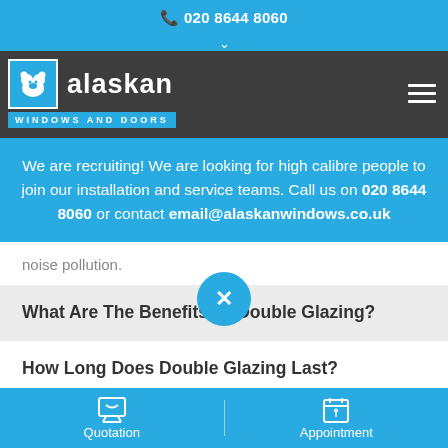020 8644 8060
[Figure (logo): Alaskan Windows and Doors logo with bear icon on blue background]
We are recruiting! We are looking for high calibre people to join our installation and service teams. Call us on 020 8644 8060 or contact email@alaskanwindows.co.uk
noise pollution.
What Are The Benefits Of Double Glazing?
How Long Does Double Glazing Last?
Quotation   Appointment